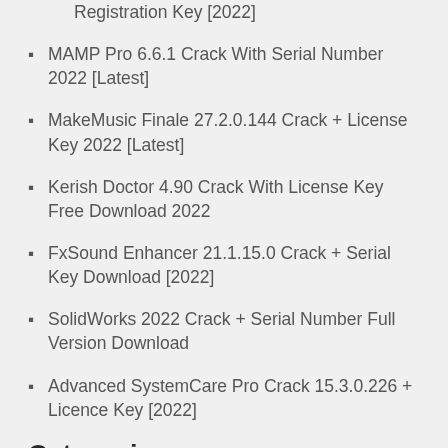Registration Key [2022]
MAMP Pro 6.6.1 Crack With Serial Number 2022 [Latest]
MakeMusic Finale 27.2.0.144 Crack + License Key 2022 [Latest]
Kerish Doctor 4.90 Crack With License Key Free Download 2022
FxSound Enhancer 21.1.15.0 Crack + Serial Key Download [2022]
SolidWorks 2022 Crack + Serial Number Full Version Download
Advanced SystemCare Pro Crack 15.3.0.226 + Licence Key [2022]
Categories
Activators
AntiVirus
Audio Work Station